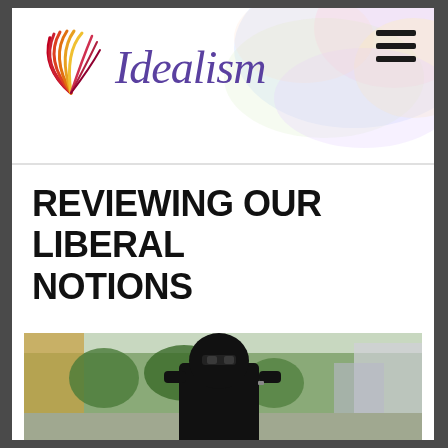Idealism (logo with rainbow/arch graphic)
REVIEWING OUR LIBERAL NOTIONS
[Figure (photo): A person dressed in full black niqab covering face and head, wearing sunglasses, standing on a street with trees and buildings in background. Their hands are raised near their face.]